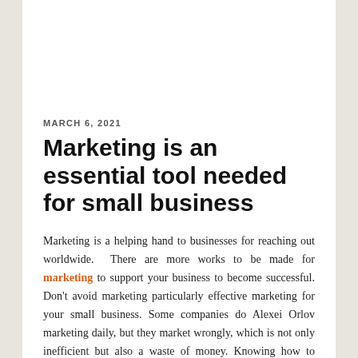MARCH 6, 2021
Marketing is an essential tool needed for small business
Marketing is a helping hand to businesses for reaching out worldwide. There are more works to be made for marketing to support your business to become successful. Don't avoid marketing particularly effective marketing for your small business. Some companies do Alexei Orlov marketing daily, but they market wrongly, which is not only inefficient but also a waste of money. Knowing how to market success will be critical to your